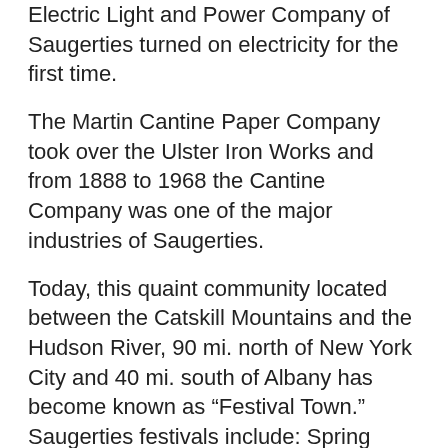Electric Light and Power Company of Saugerties turned on electricity for the first time.
The Martin Cantine Paper Company took over the Ulster Iron Works and from 1888 to 1968 the Cantine Company was one of the major industries of Saugerties.
Today, this quaint community located between the Catskill Mountains and the Hudson River, 90 mi. north of New York City and 40 mi. south of Albany has become known as “Festival Town.” Saugerties festivals include: Spring Festival; a Jazz and Art Festival; an annual Hudson Valley Garlic Festival; and Mum Festival.
The town boasts a municipal indoor regulation ice hockey rink; ball fields; Hits on the Hudson